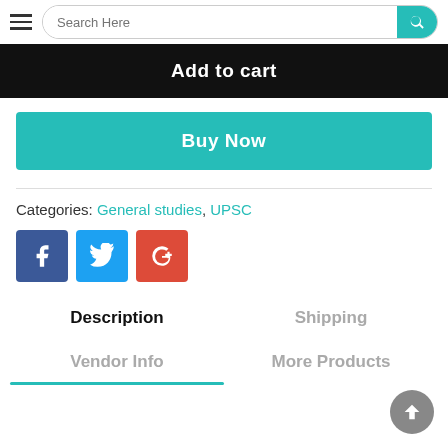[Figure (screenshot): Header with hamburger menu icon and search bar with teal search button]
Add to cart
Buy Now
Categories: General studies, UPSC
[Figure (infographic): Social share icons: Facebook (blue), Twitter (light blue), Google+ (red)]
Description
Shipping
Vendor Info
More Products